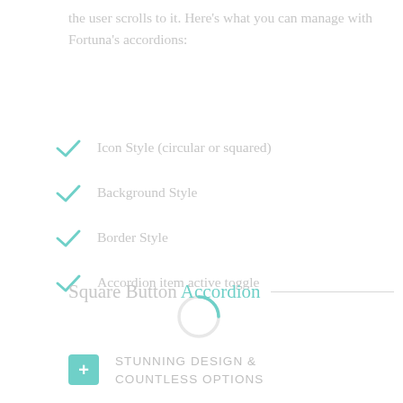the user scrolls to it. Here's what you can manage with Fortuna's accordions:
Icon Style (circular or squared)
Background Style
Border Style
Accordion item active toggle
[Figure (other): A circular loading spinner with a teal arc on the upper-left portion and light gray body]
Square Button Accordion
STUNNING DESIGN & COUNTLESS OPTIONS